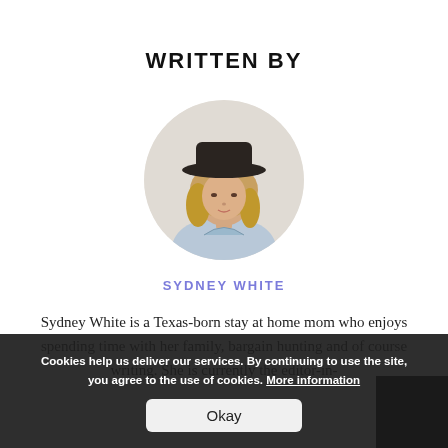WRITTEN BY
[Figure (photo): Circular portrait photo of Sydney White, a woman wearing a dark wide-brim hat and light blue shirt, photographed against a light background]
SYDNEY WHITE
Sydney White is a Texas-born stay at home mom who enjoys spending time with her family, bargain hunting and of course writing. She is currently the editor-in-
Cookies help us deliver our services. By continuing to use the site, you agree to the use of cookies. More information
Okay